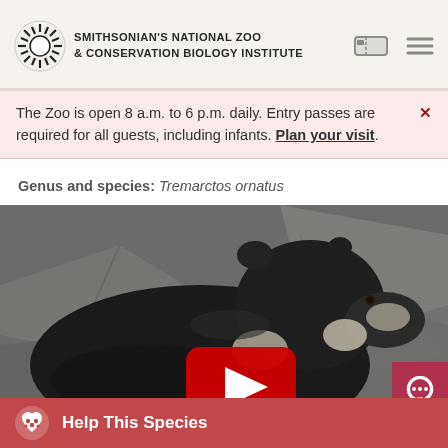[Figure (logo): Smithsonian's National Zoo & Conservation Biology Institute header with logo, ticket icon, and hamburger menu]
The Zoo is open 8 a.m. to 6 p.m. daily. Entry passes are required for all guests, including infants. Plan your visit.
Genus and species: Tremarctos ornatus
[Figure (photo): A black bear (Andean bear/spectacled bear) looking upward against a rocky background, with a YouTube play button overlay]
Help This Species